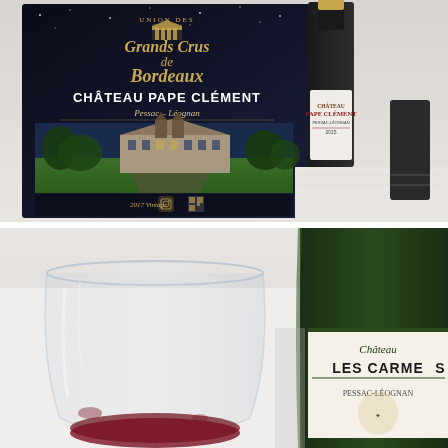[Figure (photo): Top photo showing a promotional sign for Château Pape Clément (Pessac-Léognan) from the Union des Grands Crus de Bordeaux with a photo of the château on the sign, and a dark wine bottle with Château Pape Clément label on the right, on a white tablecloth. The sign mentions 2017 Vintage and has a QR code.]
[Figure (photo): Bottom photo showing a used wine glass with red wine residue on the left and a green wine bottle showing Château Les Carmes label on the right, on a white tablecloth.]